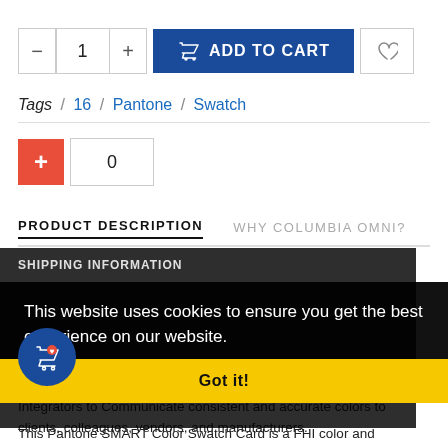[Figure (screenshot): E-commerce product page showing quantity selector, Add to Cart button, wishlist button, Tags line, a plus/counter widget, product description tabs, a dark overlay with cookie consent banner, a floating cart icon, and partial product description text.]
Tags / 16 / Pantone / Swatch
+ 0
PRODUCT DESCRIPTION
WHY COLUMBIA OMNI?
SHIPPING INFORMATION
This website uses cookies to ensure you get the best experience on our website.
Got it!
The 16-5101 TCX Wet Weather Swatch Card is a single fabric swatch used by Fashion Designers, Product Developers and Integrators to Communicate consistent and accurate colors to clients, colleagues, vendors, and manufacturers.
This Pantone SMART Color Swatch Card is a FHI color and